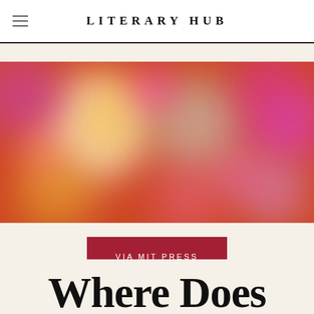LITERARY HUB
[Figure (photo): Bokeh photograph with blurred colorful lights: pink, purple, yellow, white, green, and orange circles on a warm red/orange background]
VIA MIT PRESS
Where Does